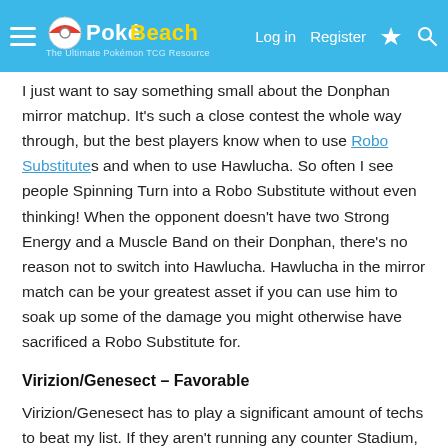PokéBeach — Log in | Register
I just want to say something small about the Donphan mirror matchup. It's such a close contest the whole way through, but the best players know when to use Robo Substitutes and when to use Hawlucha. So often I see people Spinning Turn into a Robo Substitute without even thinking! When the opponent doesn't have two Strong Energy and a Muscle Band on their Donphan, there's no reason not to switch into Hawlucha. Hawlucha in the mirror match can be your greatest asset if you can use him to soak up some of the damage you might otherwise have sacrificed a Robo Substitute for.
Virizion/Genesect – Favorable
Virizion/Genesect has to play a significant amount of techs to beat my list. If they aren't running any counter Stadium, a single copy of Silent Lab ensures you won't have to worry about them